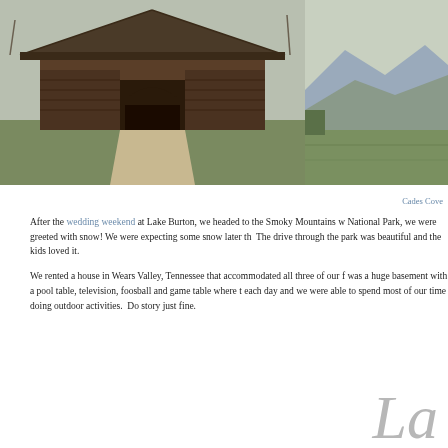[Figure (photo): Two side-by-side photos: left shows a historic wooden barn/cantilever structure at Cades Cove with an arched opening and a path leading to it, right shows a mountain landscape with green fields and distant mountains under a cloudy sky.]
Cades Cove
After the wedding weekend at Lake Burton, we headed to the Smoky Mountains w National Park, we were greeted with snow! We were expecting some snow later th The drive through the park was beautiful and the kids loved it.
We rented a house in Wears Valley, Tennessee that accommodated all three of our f was a huge basement with a pool table, television, foosball and game table where t each day and we were able to spend most of our time doing outdoor activities. Do story just fine.